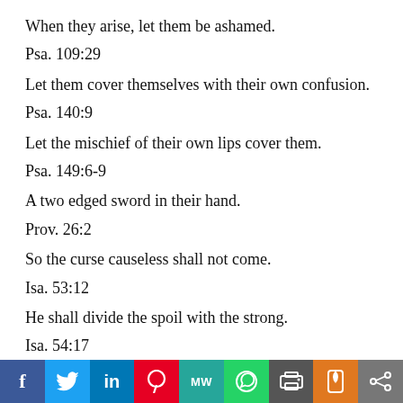When they arise, let them be ashamed.
Psa. 109:29
Let them cover themselves with their own confusion.
Psa. 140:9
Let the mischief of their own lips cover them.
Psa. 149:6-9
A two edged sword in their hand.
Prov. 26:2
So the curse causeless shall not come.
Isa. 53:12
He shall divide the spoil with the strong.
Isa. 54:17
Every tongue arising against thee in judgment thou shalt condemn.
f  [Twitter]  in  [Pinterest]  MW  [WhatsApp]  [Print]  [Parler]  [Share]